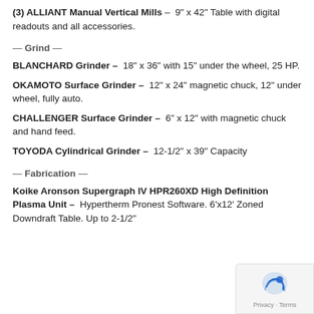(3) ALLIANT Manual Vertical Mills – 9" x 42" Table with digital readouts and all accessories.
— Grind —
BLANCHARD Grinder – 18" x 36" with 15" under the wheel, 25 HP.
OKAMOTO Surface Grinder – 12" x 24" magnetic chuck, 12" under wheel, fully auto.
CHALLENGER Surface Grinder – 6" x 12" with magnetic chuck and hand feed.
TOYODA Cylindrical Grinder – 12-1/2" x 39" Capacity
— Fabrication —
Koike Aronson Supergraph IV HPR260XD High Definition Plasma Unit – Hypertherm Pronest Software. 6'x12' Zoned Downdraft Table. Up to 2-1/2"